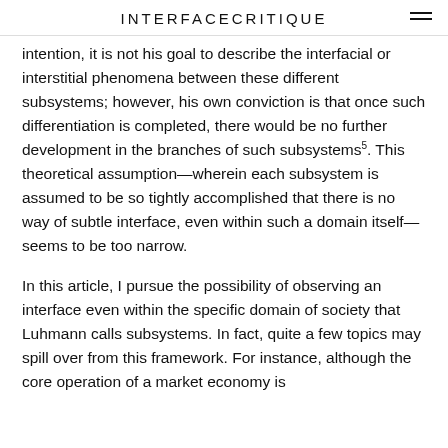INTERFACECRITIQUE
intention, it is not his goal to describe the interfacial or interstitial phenomena between these different subsystems; however, his own conviction is that once such differentiation is completed, there would be no further development in the branches of such subsystems⁵. This theoretical assumption—wherein each subsystem is assumed to be so tightly accomplished that there is no way of subtle interface, even within such a domain itself—seems to be too narrow.
In this article, I pursue the possibility of observing an interface even within the specific domain of society that Luhmann calls subsystems. In fact, quite a few topics may spill over from this framework. For instance, although the core operation of a market economy is